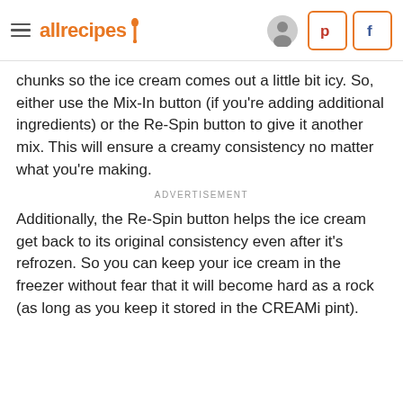allrecipes
chunks so the ice cream comes out a little bit icy. So, either use the Mix-In button (if you're adding additional ingredients) or the Re-Spin button to give it another mix. This will ensure a creamy consistency no matter what you're making.
ADVERTISEMENT
Additionally, the Re-Spin button helps the ice cream get back to its original consistency even after it's refrozen. So you can keep your ice cream in the freezer without fear that it will become hard as a rock (as long as you keep it stored in the CREAMi pint).